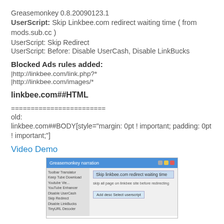Greasemonkey 0.8.20090123.1
UserScript: Skip Linkbee.com redirect waiting time ( from mods.sub.cc )
UserScript: Skip Redirect
UserScript: Before: Disable UserCash, Disable LinkBucks
Blocked Ads rules added:
|http://linkbee.com/link.php?*
|http://linkbee.com/images/*
linkbee.com##HTML
========================
old:
linkbee.com##BODY[style="margin: 0pt ! important; padding: 0pt ! important;"]
Video Demo
[Figure (screenshot): Screenshot of a browser extension manager (Greasemonkey/userscripts) showing 'Skip linkbee.com redirect waiting time' selected in a list, with description and button panel on the right.]